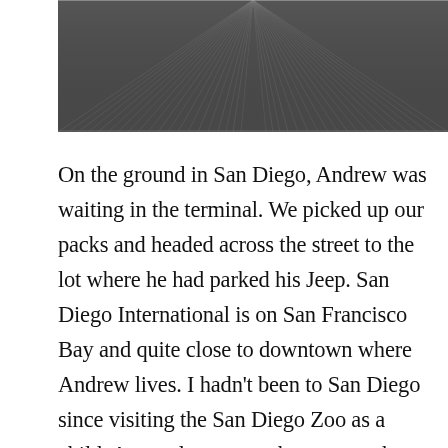[Figure (photo): Aerial or close-up view of corrugated metal roof panels with parallel ridged lines converging toward the top of the image, dark grey in color]
On the ground in San Diego, Andrew was waiting in the terminal. We picked up our packs and headed across the street to the lot where he had parked his Jeep. San Diego International is on San Francisco Bay and quite close to downtown where Andrew lives. I hadn't been to San Diego since visiting the San Diego Zoo as a child. As we drove over, he gave us the lay of the land, explaining the layout of the city and its downtown. It was the sort of thing that I geek out about pretty hard, so